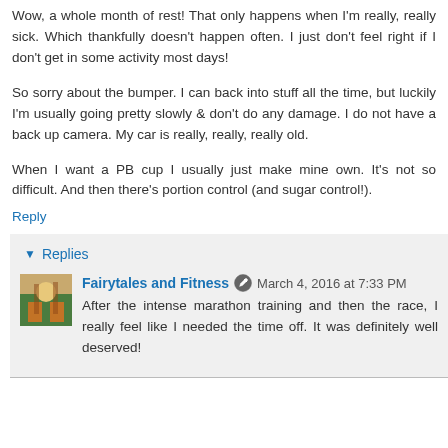Wow, a whole month of rest! That only happens when I'm really, really sick. Which thankfully doesn't happen often. I just don't feel right if I don't get in some activity most days!
So sorry about the bumper. I can back into stuff all the time, but luckily I'm usually going pretty slowly & don't do any damage. I do not have a back up camera. My car is really, really, really old.
When I want a PB cup I usually just make mine own. It's not so difficult. And then there's portion control (and sugar control!).
Reply
Replies
Fairytales and Fitness March 4, 2016 at 7:33 PM
After the intense marathon training and then the race, I really feel like I needed the time off. It was definitely well deserved!